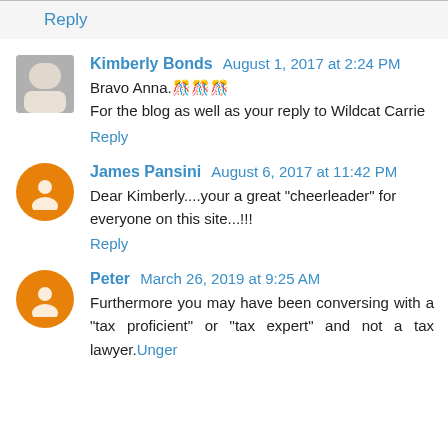Reply
Kimberly Bonds August 1, 2017 at 2:24 PM
Bravo Anna.🎊🎊🎊
For the blog as well as your reply to Wildcat Carrie
Reply
James Pansini August 6, 2017 at 11:42 PM
Dear Kimberly....your a great "cheerleader" for everyone on this site...!!!
Reply
Peter March 26, 2019 at 9:25 AM
Furthermore you may have been conversing with a "tax proficient" or "tax expert" and not a tax lawyer.Unger